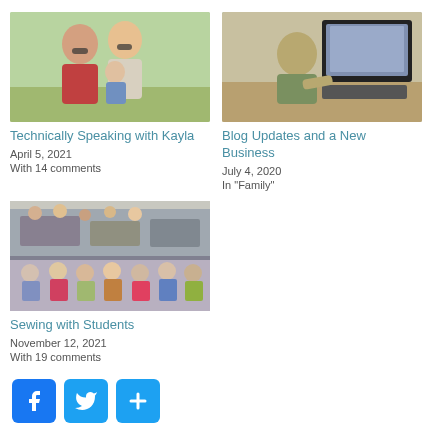[Figure (photo): Family photo with two adults and a baby outdoors]
Technically Speaking with Kayla
April 5, 2021
With 14 comments
[Figure (photo): Person working at a computer/desktop monitor]
Blog Updates and a New Business
July 4, 2020
In "Family"
[Figure (photo): Sewing with students - two photos showing classroom/students]
Sewing with Students
November 12, 2021
With 19 comments